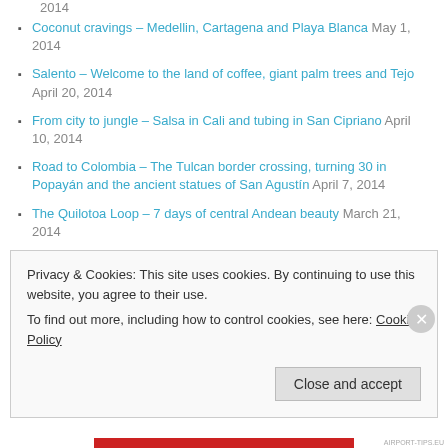2014
Coconut cravings – Medellin, Cartagena and Playa Blanca May 1, 2014
Salento – Welcome to the land of coffee, giant palm trees and Tejo April 20, 2014
From city to jungle – Salsa in Cali and tubing in San Cipriano April 10, 2014
Road to Colombia – The Tulcan border crossing, turning 30 in Popayán and the ancient statues of San Agustín April 7, 2014
The Quilotoa Loop – 7 days of central Andean beauty March 21, 2014
Baños – Some fresh air and sunshine in the Central Highlands March 19, 2014
Privacy & Cookies: This site uses cookies. By continuing to use this website, you agree to their use. To find out more, including how to control cookies, see here: Cookie Policy